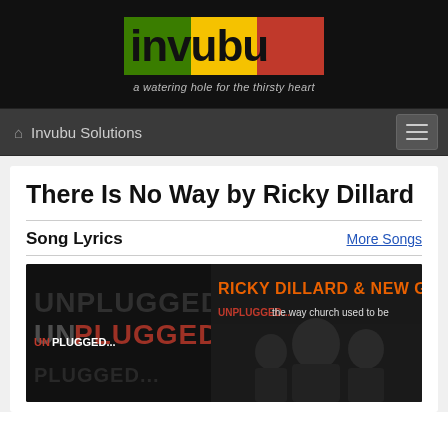invubu - a watering hole for the thirsty heart
Invubu Solutions
There Is No Way by Ricky Dillard
Song Lyrics
More Songs
[Figure (photo): Album cover for Ricky Dillard & New G 'Unplugged... the way church used to be']